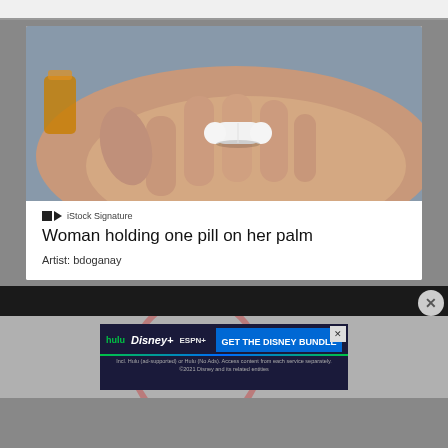[Figure (photo): A woman's open palm holding a single white oval pill, with an orange prescription bottle visible blurred in background. Close-up photo with shallow depth of field.]
■◀ iStock Signature
Woman holding one pill on her palm
Artist: bdoganay
[Figure (screenshot): Dark video player bar with close (X) button overlay]
[Figure (infographic): Disney Bundle advertisement banner showing Hulu, Disney+, ESPN+ logos with 'GET THE DISNEY BUNDLE' call to action and fine print about Hulu ad-supported options. ©2021 Disney and its related entities.]